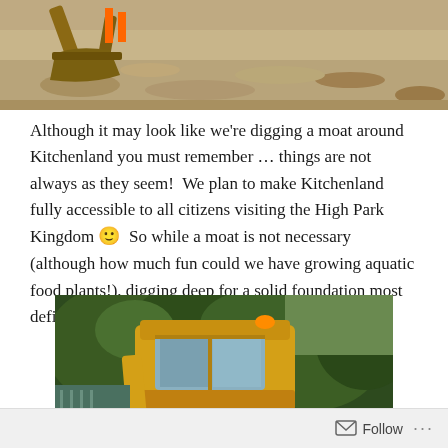[Figure (photo): Close-up of a construction excavation bucket in sandy/dirt soil with orange safety markers visible]
Although it may look like we're digging a moat around Kitchenland you must remember … things are not always as they seem!  We plan to make Kitchenland fully accessible to all citizens visiting the High Park Kingdom 🙂  So while a moat is not necessary (although how much fun could we have growing aquatic food plants!), digging deep for a solid foundation most definitely is!
[Figure (photo): Yellow construction backhoe/excavator machine with green trees in the background]
Follow